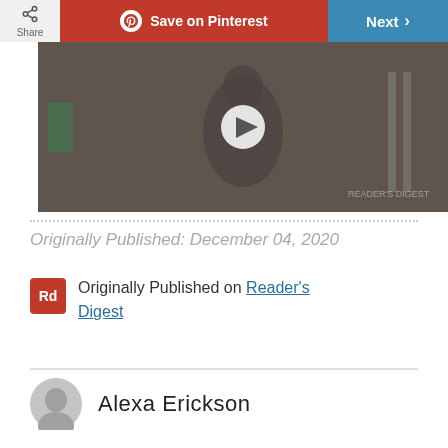[Figure (screenshot): Top navigation bar with Share button, Save on Pinterest red button, and Next blue button]
[Figure (screenshot): Video thumbnail showing a person in a room, with a play button overlay]
Originally Published: December 04, 2020
Originally Published on Reader's Digest
Alexa Erickson